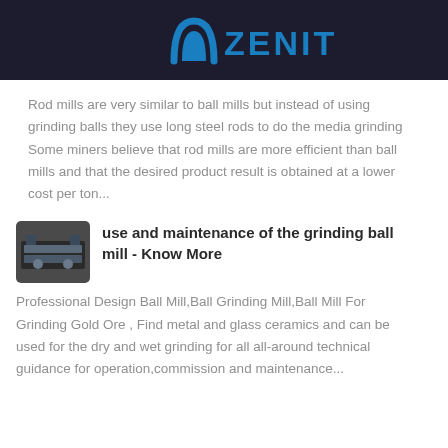[Figure (logo): ZENIT company logo with blue arch icon and blue ZENIT text on dark background]
Rod mills are very similar to ball mills but instead of using grinding balls they use long steel rods to do the media grinding Some miners believe that rod mills are more efficient than ball mills and that the desired product result is obtained at a lower cost per ton...
[Figure (photo): Small thumbnail image of grinding ball mill equipment]
use and maintenance of the grinding ball mill - Know More
Professional Design Ball Mill,Ball Grinding Mill,Ball Mill For Grinding Gold Ore , Find metal and glass ceramics and can be used for the dry and wet grinding for all all-around technical guidance for operation,commission and maintenance...